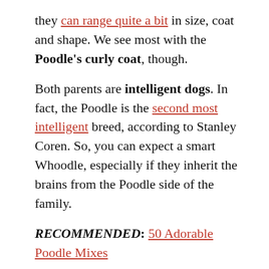they can range quite a bit in size, coat and shape. We see most with the Poodle's curly coat, though.
Both parents are intelligent dogs. In fact, the Poodle is the second most intelligent breed, according to Stanley Coren. So, you can expect a smart Whoodle, especially if they inherit the brains from the Poodle side of the family.
RECOMMENDED: 50 Adorable Poodle Mixes
2. Jack Chi
Parents: Jack Russell Terrier x Chihuahua